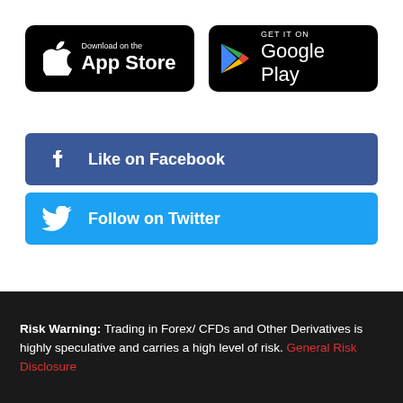[Figure (logo): App Store download button (black rounded rectangle with Apple logo and text 'Download on the App Store')]
[Figure (logo): Google Play download button (black rounded rectangle with Google Play triangle logo and text 'GET IT ON Google Play')]
[Figure (logo): Facebook social button (blue button with Facebook 'f' icon and text 'Like on Facebook')]
[Figure (logo): Twitter social button (light blue button with Twitter bird icon and text 'Follow on Twitter')]
Risk Warning: Trading in Forex/ CFDs and Other Derivatives is highly speculative and carries a high level of risk. General Risk Disclosure